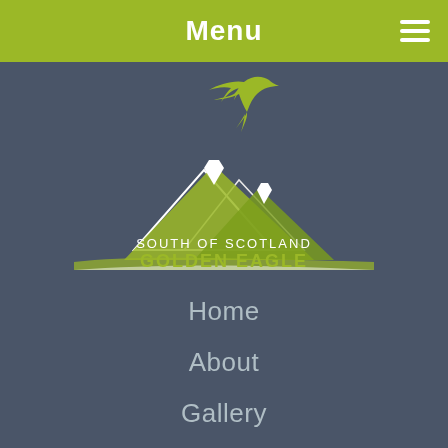Menu
[Figure (logo): South of Scotland Golden Eagle Project logo — eagle silhouette flying above stylized mountain range, with text 'SOUTH OF SCOTLAND GOLDEN EAGLE PROJECT']
Home
About
Gallery
Contact